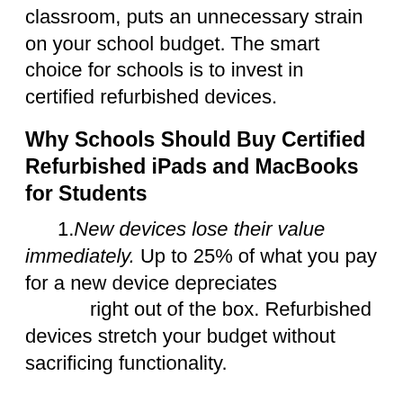classroom, puts an unnecessary strain on your school budget. The smart choice for schools is to invest in certified refurbished devices.
Why Schools Should Buy Certified Refurbished iPads and MacBooks for Students
1. New devices lose their value immediately. Up to 25% of what you pay for a new device depreciates right out of the box. Refurbished devices stretch your budget without sacrificing functionality.
2. Accidents happen. We all know that students have slippery hands and distracted minds. It does not